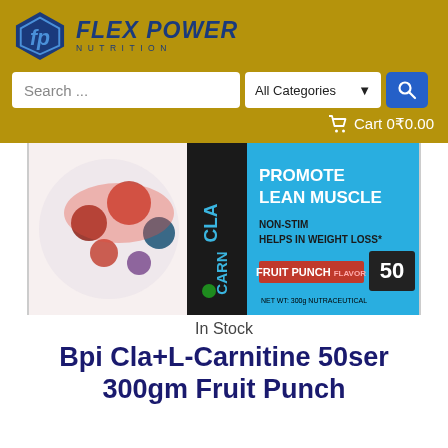[Figure (logo): Flex Power Nutrition logo with blue diamond shield icon and bold italic text]
Search ...
All Categories ▼
Cart 0₹0.00
[Figure (photo): BPI CLA+Carnitine 50 servings 300gm Fruit Punch supplement container showing promote lean muscle, non-stim, helps in weight loss labels]
In Stock
Bpi Cla+L-Carnitine 50ser 300gm Fruit Punch